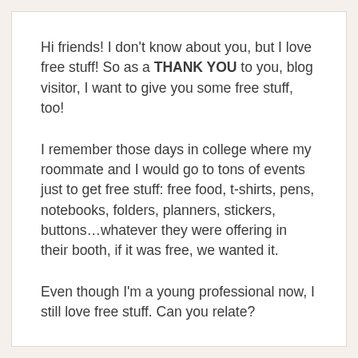Hi friends! I don't know about you, but I love free stuff! So as a THANK YOU to you, blog visitor, I want to give you some free stuff, too!
I remember those days in college where my roommate and I would go to tons of events just to get free stuff: free food, t-shirts, pens, notebooks, folders, planners, stickers, buttons…whatever they were offering in their booth, if it was free, we wanted it.
Even though I'm a young professional now, I still love free stuff. Can you relate?